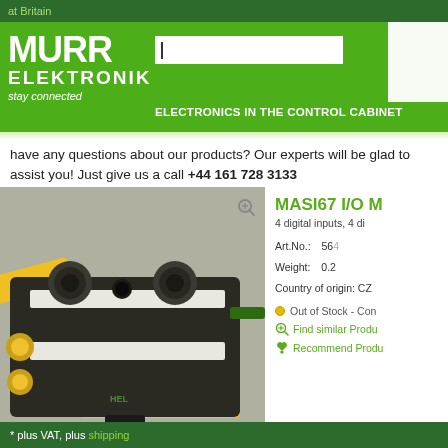at Britain
[Figure (logo): Murr Elektronik logo with green background, search box, and navigation label 'ELECTRONICS IN THE CONTROL CABINET']
have any questions about our products? Our experts will be glad to assist you! Just give us a call +44 161 728 3133
[Figure (photo): MASI67 I/O module product photo showing a dark industrial connector block with yellow cables and M12 connectors on top]
MASI67 I/O M
4 digital inputs, 4 di
Art.No.: 564
Weight: 0.2
Country of origin: CZ
Out of Stock - Con
Find similar Produ
Recommend Produ
* plus VAT, plus shipping